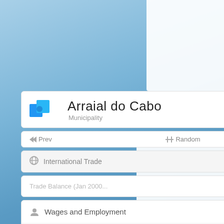Arraial do Cabo
Municipality
◄◄ Prev   ⇄ Random   Next ►►
International Trade
Trade Balance (Jan 2000...
Wages and Employment
Employment by:
Industry (2013)
Occupation (2013)
Wages by:
Industry (2013)
Occupation (2013)